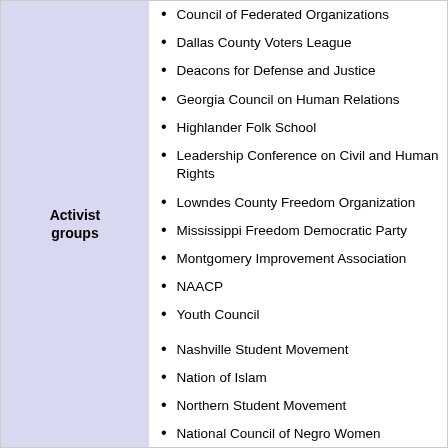Activist groups
Council of Federated Organizations
Dallas County Voters League
Deacons for Defense and Justice
Georgia Council on Human Relations
Highlander Folk School
Leadership Conference on Civil and Human Rights
Lowndes County Freedom Organization
Mississippi Freedom Democratic Party
Montgomery Improvement Association
NAACP
Youth Council
Nashville Student Movement
Nation of Islam
Northern Student Movement
National Council of Negro Women
National Urban League
Operation Breadbasket